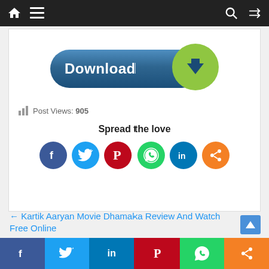[Figure (screenshot): Website navigation bar with home icon, hamburger menu icon on the left, and search and shuffle icons on the right, dark background]
[Figure (illustration): Blue pill-shaped download button with white bold 'Download' text and a green circle on the right containing a dark blue downward arrow icon]
Post Views: 905
Spread the love
[Figure (illustration): Row of 6 circular social media share icons: Facebook (dark blue), Twitter (light blue), Pinterest (red), WhatsApp (green), LinkedIn (dark blue), Share (orange)]
← Kartik Aaryan Movie Dhamaka Review And Watch Free Online
[Figure (illustration): Bottom share bar with 6 colored sections: Facebook (dark blue), Twitter (light blue), LinkedIn (blue), Pinterest (red), WhatsApp (green), Share (orange), each with respective icons]